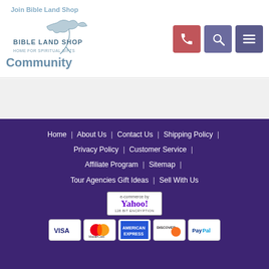[Figure (logo): Bible Land Shop logo with dove/bird graphic and text 'BIBLE LAND SHOP HOME FOR SPIRITUAL GIFTS']
Join Bible Land Shop Community
[Figure (screenshot): Navigation icons: phone button (red-pink), search button (purple), menu button (dark purple)]
Home | About Us | Contact Us | Shipping Policy | Privacy Policy | Customer Service | Affiliate Program | Sitemap | Tour Agencies Gift Ideas | Sell With Us
[Figure (logo): e-commerce by YAHOO! 128 BIT ENCRYPTION badge]
[Figure (infographic): Payment method icons: VISA, MasterCard, American Express, Discover, PayPal]